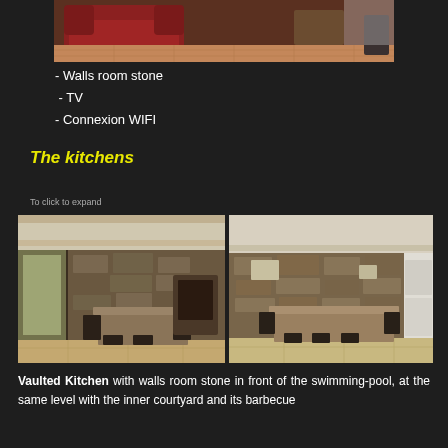[Figure (photo): Top partial photo of red leather sofa and tiled floor interior room]
- Walls room stone
- TV
- Connexion WIFI
The kitchens
To click to expand
[Figure (photo): Left kitchen photo: vaulted stone-wall kitchen with dining table and chairs, open door to outside pool area]
[Figure (photo): Right kitchen photo: vaulted stone-wall kitchen with dining table and chairs, modern appliances on right]
Vaulted Kitchen with walls room stone in front of the swimming-pool, at the same level with the inner courtyard and its barbecue